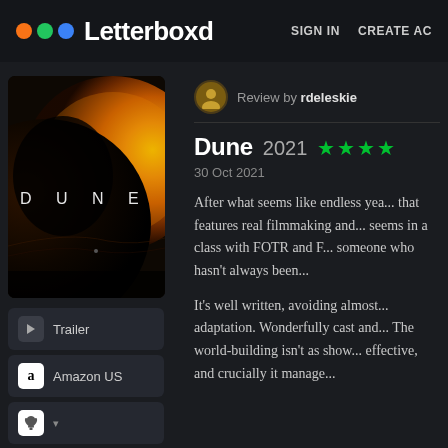Letterboxd   SIGN IN   CREATE AC
[Figure (screenshot): Dune 2021 movie poster showing a large orange sun/planet with the DUNE title text in a dark dramatic landscape]
Review by rdeleskie
Dune 2021 ★★★★
30 Oct 2021
After what seems like endless yea... that features real filmmaking and... seems in a class with FOTR and F... someone who hasn't always been...
It's well written, avoiding almost... adaptation. Wonderfully cast and... The world-building isn't as show... effective, and crucially it manage...
Trailer
Amazon US
Apple (icon)